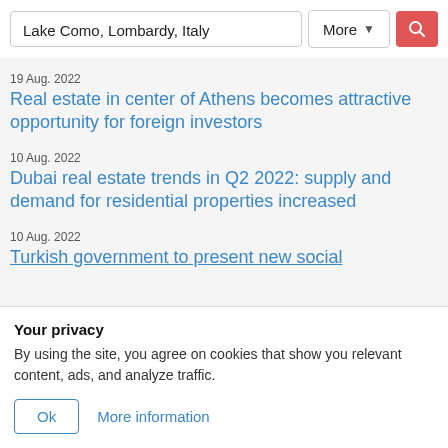Lake Como, Lombardy, Italy
19 Aug. 2022
Real estate in center of Athens becomes attractive opportunity for foreign investors
10 Aug. 2022
Dubai real estate trends in Q2 2022: supply and demand for residential properties increased
10 Aug. 2022
Turkish government to present new social
Your privacy
By using the site, you agree on cookies that show you relevant content, ads, and analyze traffic.
Ok
More information